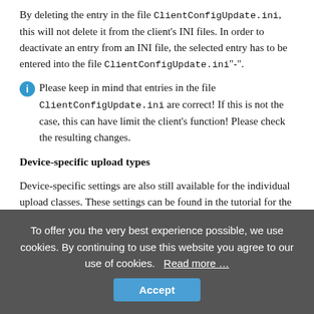By deleting the entry in the file ClientConfigUpdate.ini, this will not delete it from the client's INI files. In order to deactivate an entry from an INI file, the selected entry has to be entered into the file ClientConfigUpdate.ini"-".
Please keep in mind that entries in the file ClientConfigUpdate.ini are correct! If this is not the case, this can have limit the client's function! Please check the resulting changes.
Device-specific upload types
Device-specific settings are also still available for the individual upload classes. These settings can be found in the tutorial for the corresponding device. It contains the name and path to the INI file that needs to be edited, the section, the key, possible values and default
To offer you the very best experience possible, we use cookies. By continuing to use this website you agree to our use of cookies. Read more … Accept